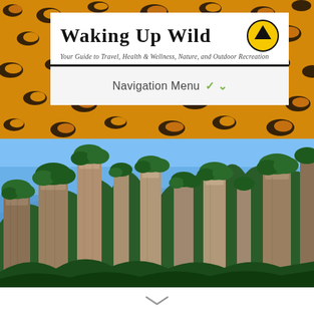[Figure (illustration): Leopard print texture background strip in orange, black, and golden tones spanning the top of the page]
[Figure (logo): Waking Up Wild website logo with large serif text 'Waking Up Wild', yellow and black circular up-arrow icon, tagline 'Your Guide to Travel, Health & Wellness, Nature, and Outdoor Recreation' in italic, followed by a thick black horizontal rule and a navigation menu bar showing 'Navigation Menu' with a green chevron]
Navigation Menu
[Figure (photo): Photograph of tall sandstone pillar rock formations covered with green trees against a clear blue sky, resembling Zhangjiajie National Forest Park in China]
[Figure (other): Small grey chevron/arrow pointing downward at the bottom of the page]